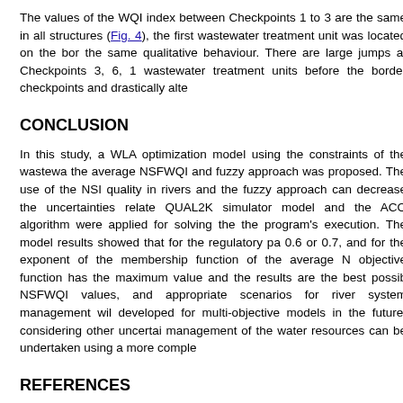The values of the WQI index between Checkpoints 1 to 3 are the same in all structures (Fig. 4), the first wastewater treatment unit was located on the border the same qualitative behaviour. There are large jumps at Checkpoints 3, 6, 1 wastewater treatment units before the border checkpoints and drastically alte
CONCLUSION
In this study, a WLA optimization model using the constraints of the wastewa the average NSFWQI and fuzzy approach was proposed. The use of the NS quality in rivers and the fuzzy approach can decrease the uncertainties relate QUAL2K simulator model and the ACO algorithm were applied for solving the the program's execution. The model results showed that for the regulatory pa 0.6 or 0.7, and for the exponent of the membership function of the average N objective function has the maximum value and the results are the best possibl NSFWQI values, and appropriate scenarios for river system management wil developed for multi-objective models in the future, considering other uncertai management of the water resources can be undertaken using a more comple
REFERENCES
ABBASI T and ABBASI SA (2012) Water Quality Indices. Elsevier, Amsterdar
AFSHAR A, MASSOUMI F, AFSHAR A and MARINO MA (2015) State of the water resource management. Water Resour. Manage. 29 (11) 3891-3904. ht